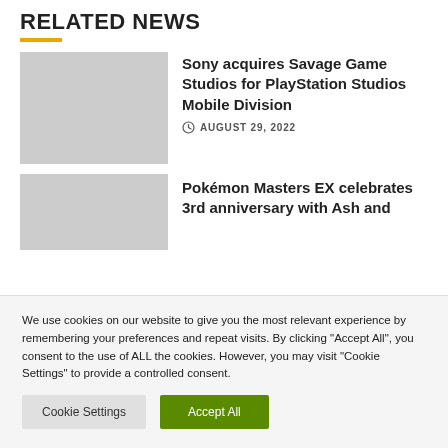RELATED NEWS
[Figure (photo): Placeholder thumbnail image (gray) for Sony acquires Savage Game Studios article]
Sony acquires Savage Game Studios for PlayStation Studios Mobile Division
AUGUST 29, 2022
[Figure (photo): Placeholder thumbnail image (gray) for Pokémon Masters EX article]
Pokémon Masters EX celebrates 3rd anniversary with Ash and
We use cookies on our website to give you the most relevant experience by remembering your preferences and repeat visits. By clicking “Accept All”, you consent to the use of ALL the cookies. However, you may visit “Cookie Settings” to provide a controlled consent.